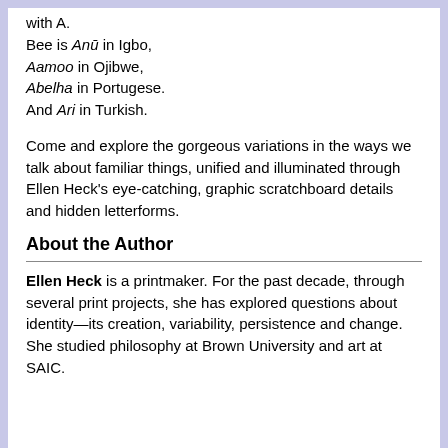with A.
Bee is Anū in Igbo,
Aamoo in Ojibwe,
Abelha in Portugese.
And Ari in Turkish.
Come and explore the gorgeous variations in the ways we talk about familiar things, unified and illuminated through Ellen Heck's eye-catching, graphic scratchboard details and hidden letterforms.
About the Author
Ellen Heck is a printmaker. For the past decade, through several print projects, she has explored questions about identity—its creation, variability, persistence and change. She studied philosophy at Brown University and art at SAIC.